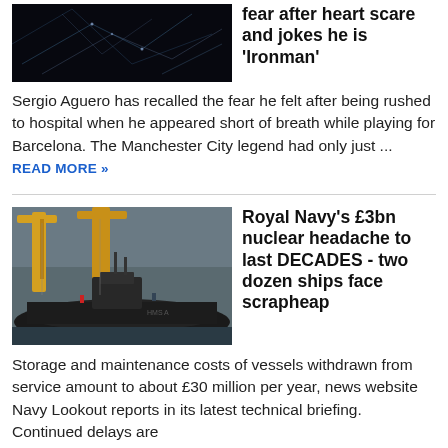[Figure (photo): Dark background with light blue electric/fiber optic lines pattern]
fear after heart scare and jokes he is 'Ironman'
Sergio Aguero has recalled the fear he felt after being rushed to hospital when he appeared short of breath while playing for Barcelona. The Manchester City legend had only just ... READ MORE »
[Figure (photo): Royal Navy nuclear submarine in dock with yellow cranes and workers visible, HMS Astute class submarine]
Royal Navy's £3bn nuclear headache to last DECADES - two dozen ships face scrapheap
Storage and maintenance costs of vessels withdrawn from service amount to about £30 million per year, news website Navy Lookout reports in its latest technical briefing. Continued delays are